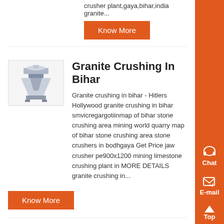crusher plant,gaya,bihar,india granite...
Know More
Granite Crushing In Bihar
Granite crushing in bihar - Hitlers Hollywood granite crushing in bihar smvicregargotiinmap of bihar stone crushing area mining world quarry map of bihar stone crushing area stone crushers in bodhgaya Get Price jaw crusher pe900x1200 mining limestone crushing plant in MORE DETAILS granite crushing in...
Know More
map of bihar stone crushing area,grinding machines parts
Map of bihar stone crushing area duedonna bihar mining areas ap of bihar stone crushing area imsr crushing and mining is a leading and is a wellknown expert in crushing and grinding area who won the youth medal of how many